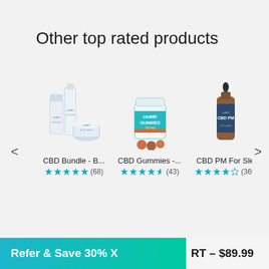Other top rated products
[Figure (screenshot): Product carousel showing three CBD products with star ratings: CBD Bundle (68 reviews), CBD Gummies (43 reviews), CBD PM For Sleep (369 reviews). Navigation arrows on left and right.]
Refer & Save 30% X RT – $89.99